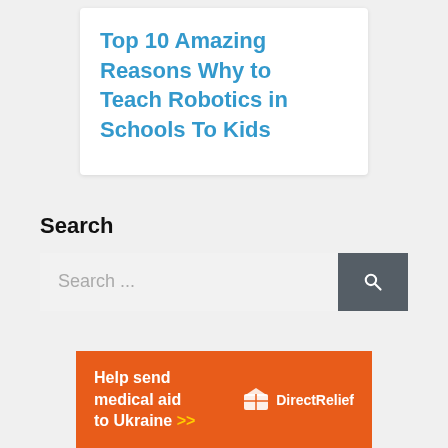Top 10 Amazing Reasons Why to Teach Robotics in Schools To Kids
Search
Search ...
[Figure (other): Help send medical aid to Ukraine >> DirectRelief advertisement banner]
Help send medical aid to Ukraine >> DirectRelief